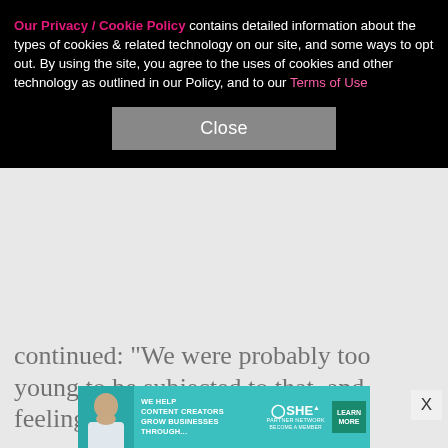Our Privacy / Cookie Policy contains detailed information about the types of cookies & related technology on our site, and some ways to opt out. By using the site, you agree to the uses of cookies and other technology as outlined in our Policy, and to our Terms of Use
Close
continued: "We were probably too young to be subjected to that, and feeling pressured to do that."
The mother of two is already preparing for her children to see the mag covers one day.
"This is what I have to explain to my kids," she said. "This weird, bizarre outfit and hair extensions. And you know what's so crazy? I don't even know how much of those pictures are even accurate as far as, like,
[Figure (infographic): Teal advertisement banner: 'WE HELP CONTENT CREATORS GROW BUSINESSES THROUGH...' with SHE PARTNER NETWORK logo and 'LEARN MORE' button]